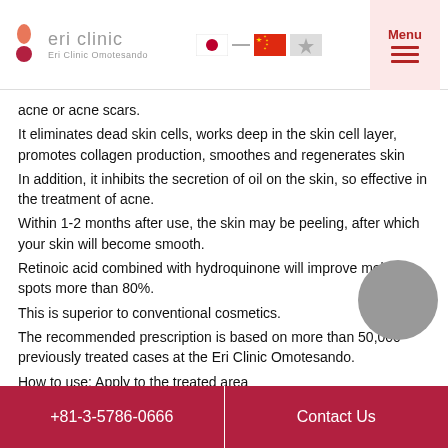eri clinic | Eri Clinic Omotesando
acne or acne scars.
It eliminates dead skin cells, works deep in the skin cell layer, promotes collagen production, smoothes and regenerates skin
In addition, it inhibits the secretion of oil on the skin, so effective in the treatment of acne.
Within 1-2 months after use, the skin may be peeling, after which your skin will become smooth.
Retinoic acid combined with hydroquinone will improve melanin spots more than 80%.
This is superior to conventional cosmetics.
The recommended prescription is based on more than 50,000 previously treated cases at the Eri Clinic Omotesando.
How to use: Apply to the treated area
+81-3-5786-0666 | Contact Us